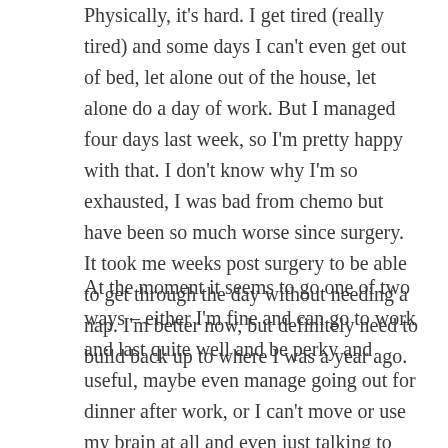Physically, it's hard. I get tired (really tired) and some days I can't even get out of bed, let alone out of the house, let alone do a day of work. But I managed four days last week, so I'm pretty happy with that. I don't know why I'm so exhausted, I was bad from chemo but have been so much worse since surgery. It took me weeks post surgery to be able to get through the day without needing a nap. I'm better now, but definitely need to build back up to where I was a year ago.
At the moment it seems to go one of two ways – either I'm fine and can go to work and last quite well and be perky and useful, maybe even manage going out for dinner after work, or I can't move or use my brain at all and even just talking to someone takes it out of me. There seems to be nothing in the middle. I'm learning what I'm capable of and what is pushing myself too